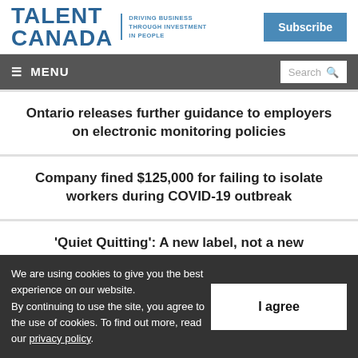TALENT CANADA — DRIVING BUSINESS THROUGH INVESTMENT IN PEOPLE | Subscribe
≡ MENU | Search
Ontario releases further guidance to employers on electronic monitoring policies
Company fined $125,000 for failing to isolate workers during COVID-19 outbreak
'Quiet Quitting': A new label, not a new phenomenon
We are using cookies to give you the best experience on our website. By continuing to use the site, you agree to the use of cookies. To find out more, read our privacy policy.